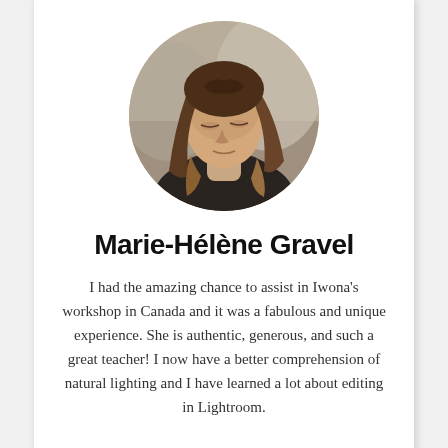[Figure (photo): Circular cropped portrait photo of a woman with long wavy brown hair, looking downward, wearing a dark top, taken outdoors with a blurred natural background.]
Marie-Hélène Gravel
I had the amazing chance to assist in Iwona's workshop in Canada and it was a fabulous and unique experience. She is authentic, generous, and such a great teacher! I now have a better comprehension of natural lighting and I have learned a lot about editing in Lightroom.